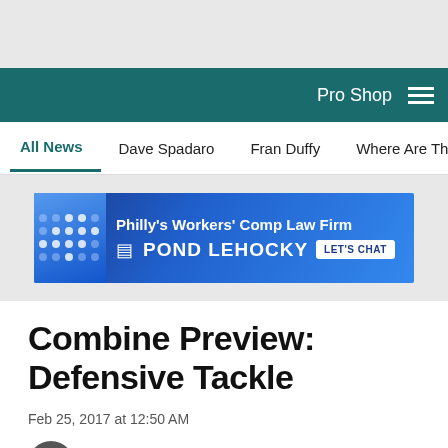Pro Shop
All News  Dave Spadaro  Fran Duffy  Where Are They Now?  Pu
[Figure (photo): Pond Lehocky advertisement banner - Philly's Workers' Comp Law Firm]
Combine Preview: Defensive Tackle
Feb 25, 2017 at 12:50 AM
Fran Duffy